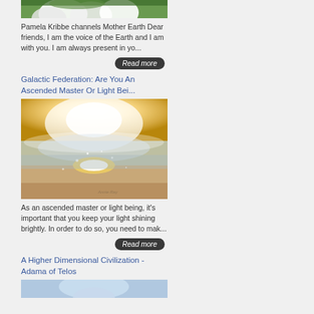[Figure (photo): Partial view of white flowers with green leaves, cropped at top]
Pamela Kribbe channels Mother Earth Dear friends,  I am the voice of the Earth and I am with you. I am always present in yo...
Read more
Galactic Federation: Are You An Ascended Master Or Light Bei...
[Figure (photo): Glowing golden light over a beach ocean scene with sparkles, mystical/spiritual imagery]
As an ascended master or light being, it's important that you keep your light shining brightly. In order to do so, you need to mak...
Read more
A Higher Dimensional Civilization - Adama of Telos
[Figure (photo): Partial image at the bottom, appears to be a person or spiritual figure, cropped]